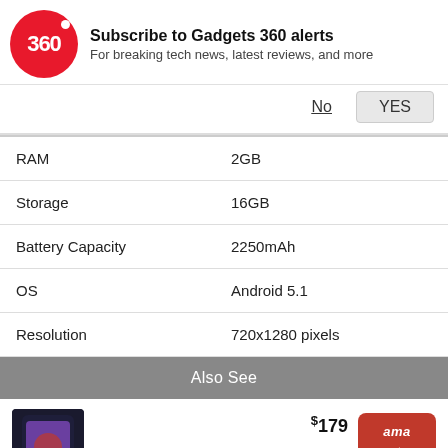[Figure (logo): Gadgets 360 red circle logo with '360' text and dot]
Subscribe to Gadgets 360 alerts
For breaking tech news, latest reviews, and more
No   YES
|  |  |
| --- | --- |
| RAM | 2GB |
| Storage | 16GB |
| Battery Capacity | 2250mAh |
| OS | Android 5.1 |
| Resolution | 720x1280 pixels |
Also See
$179
Samsung Galaxy A22 (4GB RAM, 128GB) - Black
[Figure (photo): Samsung Galaxy A22 phone - black color]
[Figure (logo): Amazon buy button in red]
$299.99